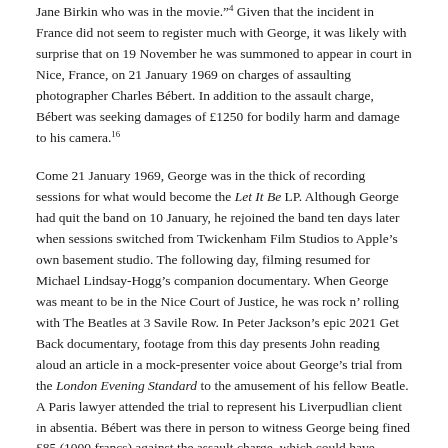Jane Birkin who was in the movie."4 Given that the incident in France did not seem to register much with George, it was likely with surprise that on 19 November he was summoned to appear in court in Nice, France, on 21 January 1969 on charges of assaulting photographer Charles Bébert. In addition to the assault charge, Bébert was seeking damages of £1250 for bodily harm and damage to his camera.16
Come 21 January 1969, George was in the thick of recording sessions for what would become the Let It Be LP. Although George had quit the band on 10 January, he rejoined the band ten days later when sessions switched from Twickenham Film Studios to Apple's own basement studio. The following day, filming resumed for Michael Lindsay-Hogg's companion documentary. When George was meant to be in the Nice Court of Justice, he was rock n' rolling with The Beatles at 3 Savile Row. In Peter Jackson's epic 2021 Get Back documentary, footage from this day presents John reading aloud an article in a mock-presenter voice about George's trial from the London Evening Standard to the amusement of his fellow Beatle. A Paris lawyer attended the trial to represent his Liverpudlian client in absentia. Bébert was there in person to witness George being fined £85 (1000 francs) against the assault charge, which could have yielded a maximum penalty of five-years' imprisonment. Bébert's damages claim for £1250 had been